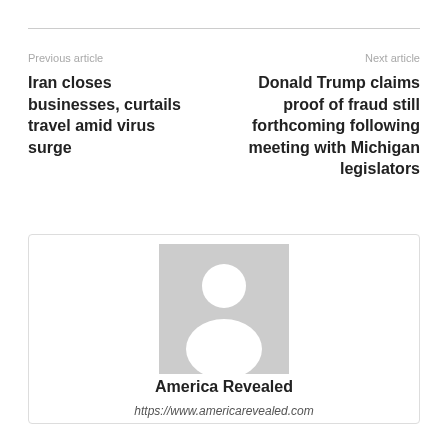Previous article
Next article
Iran closes businesses, curtails travel amid virus surge
Donald Trump claims proof of fraud still forthcoming following meeting with Michigan legislators
[Figure (illustration): Generic avatar placeholder image — gray rectangle with white silhouette of a person (head and shoulders)]
America Revealed
https://www.americarevealed.com